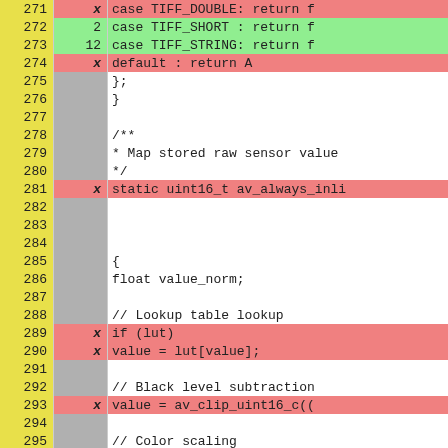| Line | Coverage | Code |
| --- | --- | --- |
| 271 | x |         case TIFF_DOUBLE: return f |
| 272 | 2 |         case TIFF_SHORT : return f |
| 273 | 12 |         case TIFF_STRING: return f |
| 274 | x |         default          : return A |
| 275 |  |         }; |
| 276 |  |     } |
| 277 |  |  |
| 278 |  |     /** |
| 279 |  |      * Map stored raw sensor value |
| 280 |  |      */ |
| 281 | x |     static uint16_t av_always_inli |
| 282 |  |  |
| 283 |  |  |
| 284 |  |  |
| 285 |  |     { |
| 286 |  |         float value_norm; |
| 287 |  |  |
| 288 |  |         // Lookup table lookup |
| 289 | x |         if (lut) |
| 290 | x |             value = lut[value]; |
| 291 |  |  |
| 292 |  |         // Black level subtraction |
| 293 | x |         value = av_clip_uint16_c(( |
| 294 |  |  |
| 295 |  |         // Color scaling |
| 296 | x |         value_norm = (float)value |